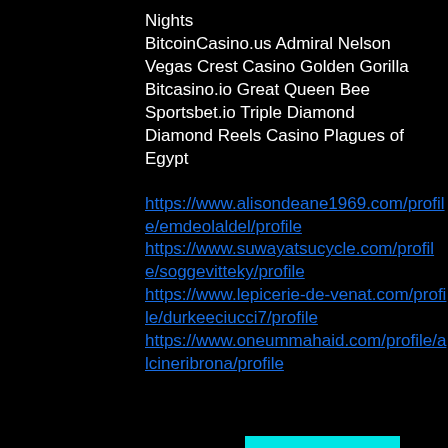Nights
BitcoinCasino.us Admiral Nelson
Vegas Crest Casino Golden Gorilla
Bitcasino.io Great Queen Bee
Sportsbet.io Triple Diamond
Diamond Reels Casino Plagues of Egypt
https://www.alisondeane1969.com/profile/emdeolaldel/profile
https://www.suwayatsucycle.com/profile/soggevitteky/profile
https://www.lepicerie-de-venat.com/profile/durkeeciucci7/profile
https://www.oneummahaid.com/profile/alcineribrona/profile